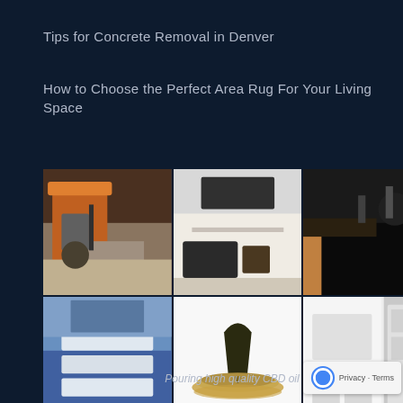Tips for Concrete Removal in Denver
How to Choose the Perfect Area Rug For Your Living Space
[Figure (photo): Grid of six photographs: construction excavator working, living room interior, aerial roofing view, building awning exterior, CBD oil being poured, white kitchen interior]
Pouring high quality CBD oil
Privacy · Terms